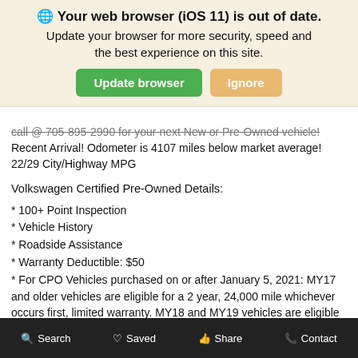🌐 Your web browser (iOS 11) is out of date. Update your browser for more security, speed and the best experience on this site. [Update browser] [Ignore]
call @ 705-895-2990 for your next New or Pre-Owned vehicle! Recent Arrival! Odometer is 4107 miles below market average! 22/29 City/Highway MPG
Volkswagen Certified Pre-Owned Details:
* 100+ Point Inspection
* Vehicle History
* Roadside Assistance
* Warranty Deductible: $50
* For CPO Vehicles purchased on or after January 5, 2021: MY17 and older vehicles are eligible for a 2 year, 24,000 mile whichever occurs first, limited warranty. MY18 and MY19 vehicles are eligible for a 1 year, 12,000 mile whichever occurs first, limited warranty. MY2020+ vehicles are eligible for a 2 year, 24,000 mile whichever occurs first, limited warranty. 3 month SiriusXM Platinum Plan subscription included.
Search  Saved  Share  Contact